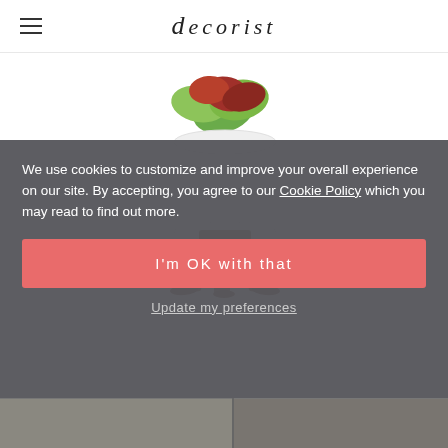decorist
[Figure (photo): A white cylindrical ceramic planter on a brown wooden mid-century modern tripod stand with a succulent plant (green and reddish-purple leaves) growing out of it, photographed against a white background.]
WEST ELM
We use cookies to customize and improve your overall experience on our site. By accepting, you agree to our Cookie Policy which you may read to find out more.
I'm OK with that
Update my preferences
[Figure (photo): Two small thumbnail images at the bottom of the page — left thumbnail appears to show a dark-toned interior scene, right thumbnail shows what appears to be dark branches or similar decor elements on a dark background.]